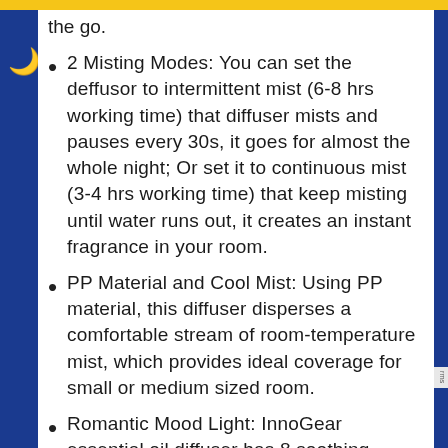the go.
2 Misting Modes: You can set the deffusor to intermittent mist (6-8 hrs working time) that diffuser mists and pauses every 30s, it goes for almost the whole night; Or set it to continuous mist (3-4 hrs working time) that keep misting until water runs out, it creates an instant fragrance in your room.
PP Material and Cool Mist: Using PP material, this diffuser disperses a comfortable stream of room-temperature mist, which provides ideal coverage for small or medium sized room.
Romantic Mood Light: InnoGear essential oil diffuser has 8 soothing colors, light can switch from dim to bright. Great for creating